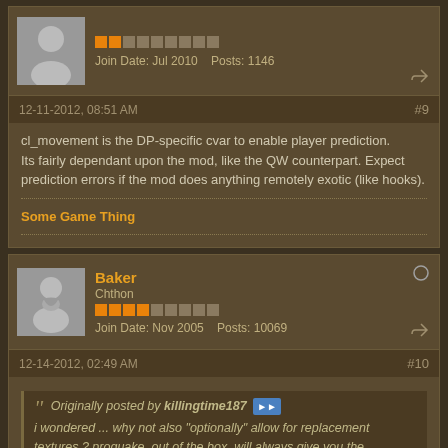[Figure (other): Forum user avatar (grey silhouette person) with orange/grey reputation bar, join date Jul 2010, posts 1146]
Join Date: Jul 2010   Posts: 1146
12-11-2012, 08:51 AM   #9
cl_movement is the DP-specific cvar to enable player prediction. Its fairly dependant upon the mod, like the QW counterpart. Expect prediction errors if the mod does anything remotely exotic (like hooks).
Some Game Thing
[Figure (photo): Forum user avatar (grey silhouette with beard/face) for user Baker]
Baker
Chthon
Join Date: Nov 2005   Posts: 10069
12-14-2012, 02:49 AM   #10
Originally posted by killingtime187
i wondered ... why not also "optionally" allow for replacement textures ? proquake, out of the box, will always give you the classic/original look and feel of quake without you having to